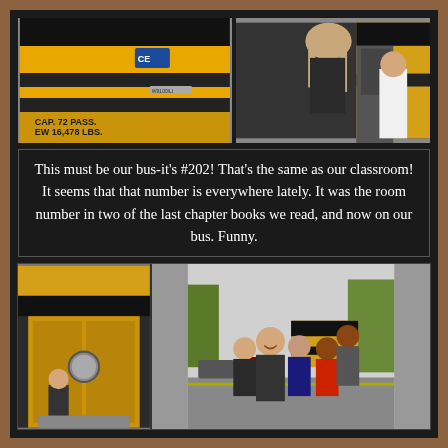[Figure (photo): Yellow school bus exterior showing 'CAP. 72 PASS. EW 16,478 LBS.' text on the side]
[Figure (photo): Students boarding a school bus, seen from behind]
This must be our bus-it's #202! That's the same as our classroom! It seems that that number is everywhere lately. It was the room number in two of the last chapter books we read, and now on our bus. Funny.
[Figure (photo): School bus door on the left; group of students smiling outside near a school bus on the right]